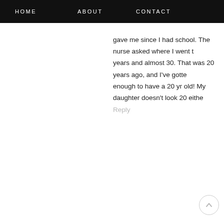HOME   ABOUT   CONTACT
gave me since I had school. The nurse asked where I went t years and almost 30. That was 20 years ago, and I've gotte enough to have a 20 yr old! My daughter doesn't look 20 eithe
Reply
NEWER POST
HOME
Subscribe to: Post Comments (Atom)